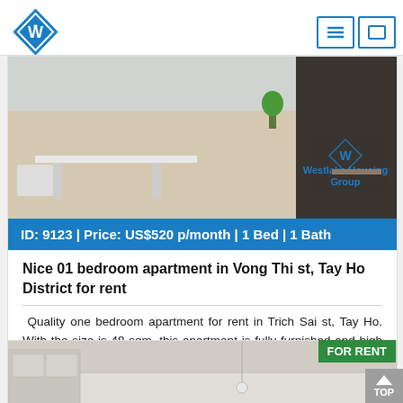[Figure (logo): Westlake Housing Group diamond logo in blue and white]
[Figure (photo): Interior photo of a furnished apartment living area with dining table, sofa, and Westlake Housing Group watermark]
ID: 9123 | Price: US$520 p/month | 1 Bed | 1 Bath
Nice 01 bedroom apartment in Vong Thi st, Tay Ho District for rent
Quality one bedroom apartment for rent in Trich Sai st, Tay Ho. With the size is 48 sqm, this apartment is fully furnished and high quality. It located near Lotte building st where close to many restaurants, coffee shops, vinmarts, lake, etc. Call us for a
View detail
[Figure (photo): Second apartment listing photo showing interior]